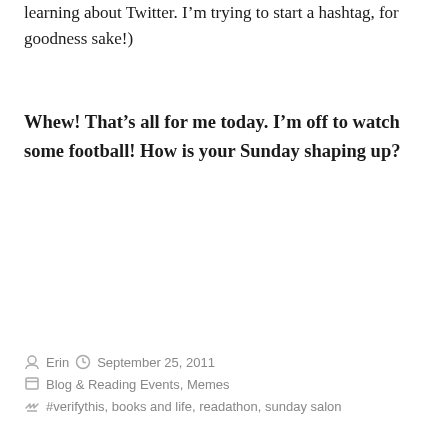learning about Twitter. I'm trying to start a hashtag, for goodness sake!)
Whew! That's all for me today. I'm off to watch some football! How is your Sunday shaping up?
By Erin  September 25, 2011  Blog & Reading Events, Memes  #verifythis, books and life, readathon, sunday salon